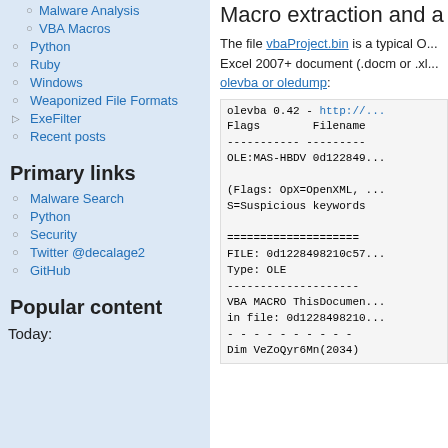Malware Analysis
VBA Macros
Python
Ruby
Windows
Weaponized File Formats
ExeFilter
Recent posts
Primary links
Malware Search
Python
Security
Twitter @decalage2
GitHub
Popular content
Today:
Macro extraction and a
The file vbaProject.bin is a typical O... Excel 2007+ document (.docm or .xls... olevba or oledump:
olevba 0.42 - http://...
Flags        Filename
----------- ---------
OLE:MAS-HBDV 0d122849...

(Flags: OpX=OpenXML, ...
S=Suspicious keywords

====================
FILE: 0d1228498210c57...
Type: OLE
--------------------
VBA MACRO ThisDocumen...
in file: 0d1228498210...
- - - - - - - - - -
Dim VeZoQyr6Mn(2034)